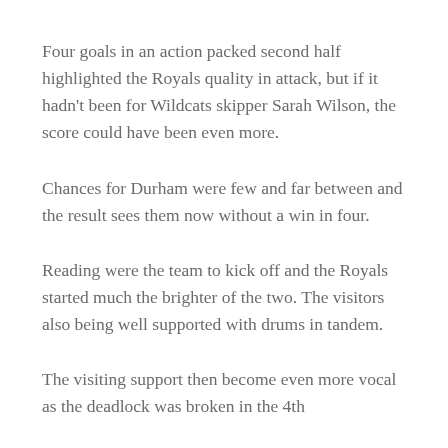Four goals in an action packed second half highlighted the Royals quality in attack, but if it hadn't been for Wildcats skipper Sarah Wilson, the score could have been even more.
Chances for Durham were few and far between and the result sees them now without a win in four.
Reading were the team to kick off and the Royals started much the brighter of the two. The visitors also being well supported with drums in tandem.
The visiting support then become even more vocal as the deadlock was broken in the 4th